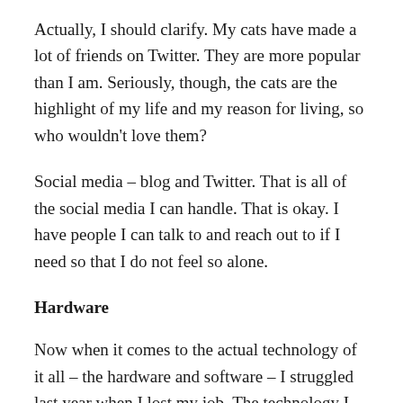Actually, I should clarify. My cats have made a lot of friends on Twitter. They are more popular than I am. Seriously, though, the cats are the highlight of my life and my reason for living, so who wouldn't love them?
Social media – blog and Twitter. That is all of the social media I can handle. That is okay. I have people I can talk to and reach out to if I need so that I do not feel so alone.
Hardware
Now when it comes to the actual technology of it all – the hardware and software – I struggled last year when I lost my job. The technology I have did not always meet the technology requirements for jobs I was looking at applying. Luckily, I was able to find